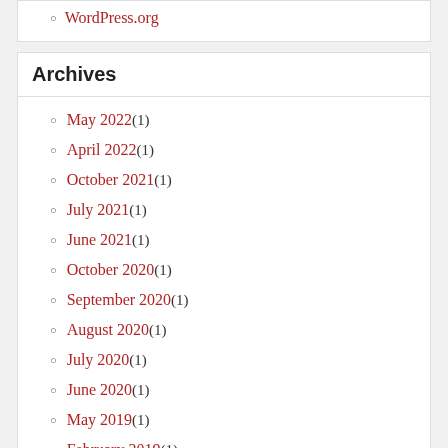WordPress.org
Archives
May 2022 (1)
April 2022 (1)
October 2021 (1)
July 2021 (1)
June 2021 (1)
October 2020 (1)
September 2020 (1)
August 2020 (1)
July 2020 (1)
June 2020 (1)
May 2019 (1)
February 2019 (1)
October 2018 (1)
July 2018 (1)